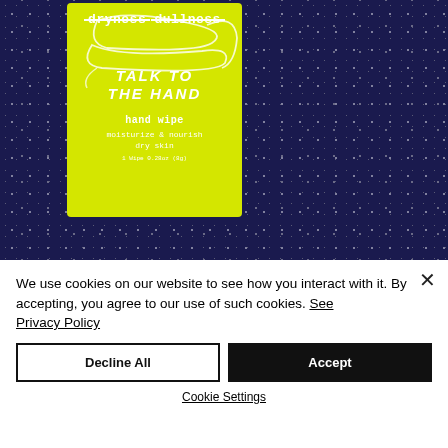[Figure (photo): Product photo of a yellow hand wipe packet labeled 'TALK TO THE HAND hand wipe moisturize & nourish dry skin' with strikethrough text reading 'dryness' and 'dullness', set against a sparkly dark blue/purple sequin background.]
We use cookies on our website to see how you interact with it. By accepting, you agree to our use of such cookies. See Privacy Policy
Decline All
Accept
Cookie Settings